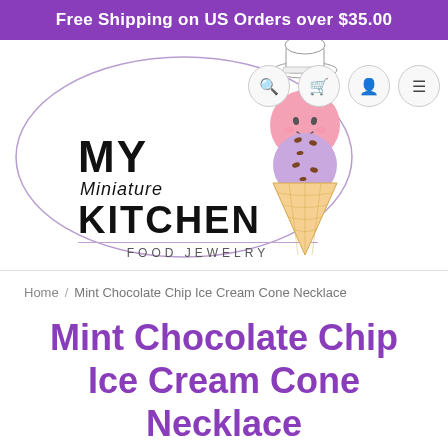Free Shipping on US Orders over $35.00
[Figure (logo): My Miniature Kitchen Food Jewelry logo with ice cream cone illustration and oval border]
Home / Mint Chocolate Chip Ice Cream Cone Necklace
Mint Chocolate Chip Ice Cream Cone Necklace